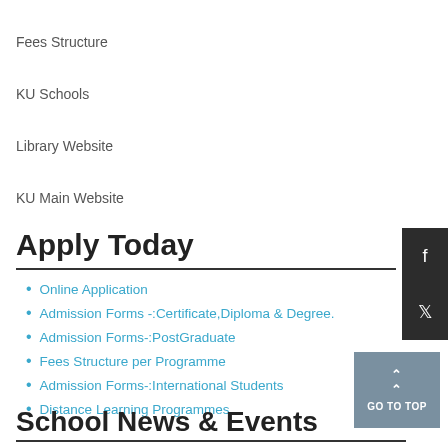Fees Structure
KU Schools
Library Website
KU Main Website
Apply Today
Online Application
Admission Forms -:Certificate,Diploma & Degree.
Admission Forms-:PostGraduate
Fees Structure per Programme
Admission Forms-:International Students
Distance Learning Programmes
School News & Events